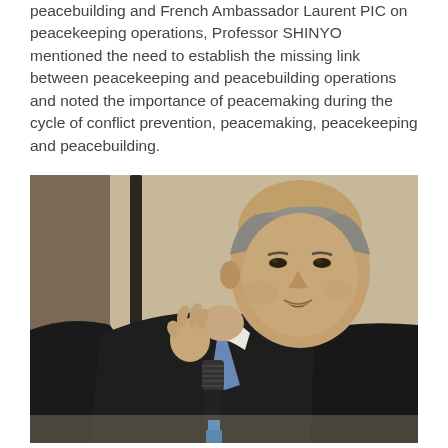peacebuilding and French Ambassador Laurent PIC on peacekeeping operations, Professor SHINYO mentioned the need to establish the missing link between peacekeeping and peacebuilding operations and noted the importance of peacemaking during the cycle of conflict prevention, peacemaking, peacekeeping and peacebuilding.
[Figure (photo): An elderly East Asian man in a dark suit and blue tie, gesturing with his right hand raised, speaking at a podium with a microphone in front of him.]